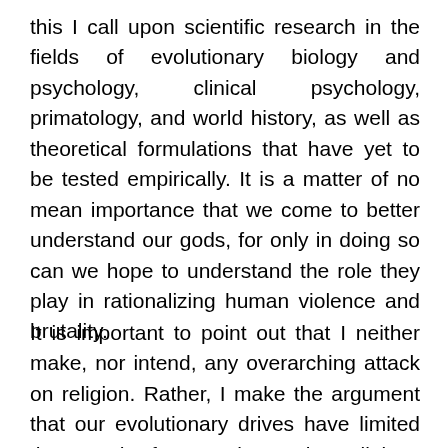this I call upon scientific research in the fields of evolutionary biology and psychology, clinical psychology, primatology, and world history, as well as theoretical formulations that have yet to be tested empirically. It is a matter of no mean importance that we come to better understand our gods, for only in doing so can we hope to understand the role they play in rationalizing human violence and brutality.
It is important to point out that I neither make, nor intend, any overarching attack on religion. Rather, I make the argument that our evolutionary drives have limited the reach for goodness in religions because they—like our religions—evolved